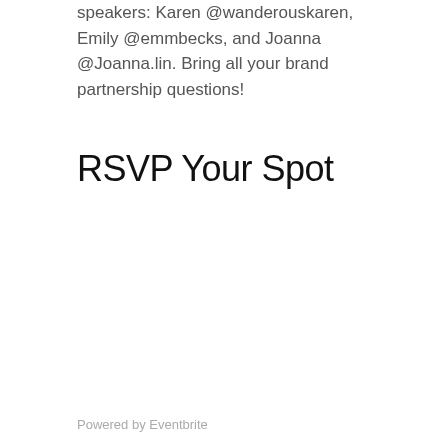speakers: Karen @wanderouskaren, Emily @emmbecks, and Joanna @Joanna.lin. Bring all your brand partnership questions!
RSVP Your Spot
Powered by Eventbrite